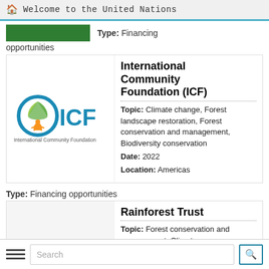Welcome to the United Nations
Type: Financing opportunities
[Figure (logo): ICF - International Community Foundation logo with circular leaf/globe icon in blue and green with orange figure, large teal ICF letters]
International Community Foundation (ICF)
Topic: Climate change, Forest landscape restoration, Forest conservation and management, Biodiversity conservation
Date: 2022
Location: Americas
Type: Financing opportunities
Rainforest Trust
Topic: Forest conservation and management, Climate